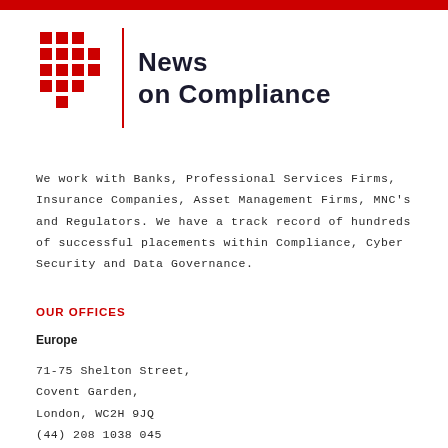[Figure (logo): News on Compliance logo with red grid of squares, vertical red divider line, and bold text 'News on Compliance']
We work with Banks, Professional Services Firms, Insurance Companies, Asset Management Firms, MNC's and Regulators. We have a track record of hundreds of successful placements within Compliance, Cyber Security and Data Governance.
OUR OFFICES
Europe
71-75 Shelton Street,
Covent Garden,
London, WC2H 9JQ
(44) 208 1038 045